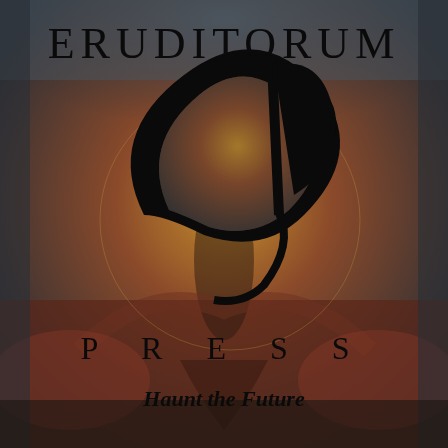[Figure (logo): Eruditorum Press logo page with a William Blake-style background painting of a muscular figure reaching downward, rendered in dark earthy tones of red, brown, gold, and muted blue-gray. Overlaid with the Eruditorum Press 'EP' monogram logo in black calligraphic lettering.]
ERUDITORUM
PRESS
Haunt the Future